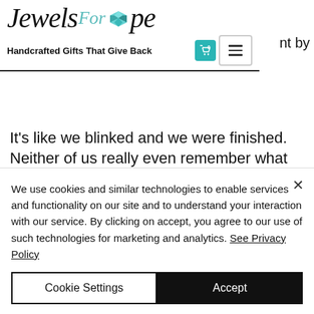[Figure (logo): Jewels For Hope logo with cursive text and teal gemstone heart]
Handcrafted Gifts That Give Back
nt by
It's like we blinked and we were finished. Neither of us really even remember what we said in the moment, we were so nervous.
Wendy was so nice! She said our
We use cookies and similar technologies to enable services and functionality on our site and to understand your interaction with our service. By clicking on accept, you agree to our use of such technologies for marketing and analytics. See Privacy Policy
Cookie Settings
Accept